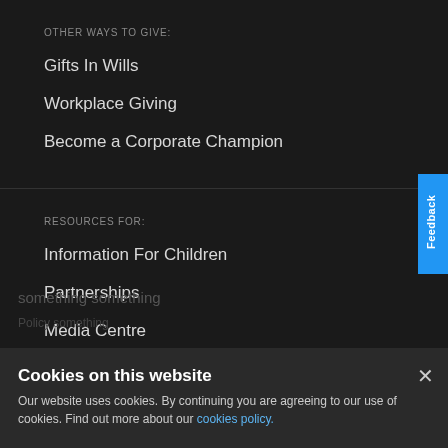OTHER WAYS TO GIVE:
Gifts In Wills
Workplace Giving
Become a Corporate Champion
RESOURCES FOR:
Information For Children
Partnerships
Media Centre
Cookies on this website
Our website uses cookies. By continuing you are agreeing to our use of cookies. Find out more about our cookies policy.